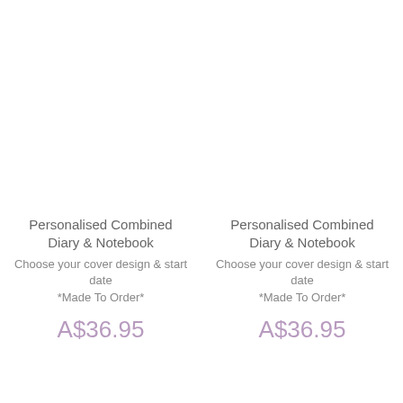Personalised Combined Diary & Notebook
Choose your cover design & start date
*Made To Order*
A$36.95
Personalised Combined Diary & Notebook
Choose your cover design & start date
*Made To Order*
A$36.95